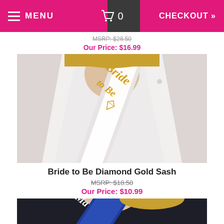MENU  🛒 0  CHECKOUT »
MSRP: $28.50
Our Price: $16.99
[Figure (photo): Woman wearing a white dress with a white sash that reads 'Bride to Be' in gold script lettering with a diamond graphic]
Bride to Be Diamond Gold Sash
MSRP: $18.50
Our Price: $10.99
[Figure (photo): Woman wearing a dark outfit with a blue sash, partially visible at bottom of page]